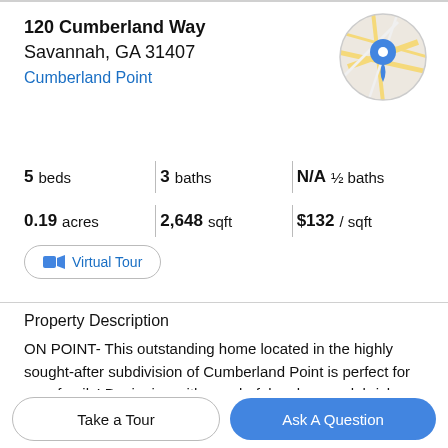120 Cumberland Way
Savannah, GA 31407
Cumberland Point
[Figure (map): Circular map thumbnail showing street map with a blue location pin marker]
| 5 beds | 3 baths | N/A ½ baths |
| 0.19 acres | 2,648 sqft | $132 / sqft |
Virtual Tour
Property Description
ON POINT- This outstanding home located in the highly sought-after subdivision of Cumberland Point is perfect for your family! Beginning with wonderful curb appeal, brick accents and a covered front porch. Step inside to wainscot
Take a Tour
Ask A Question